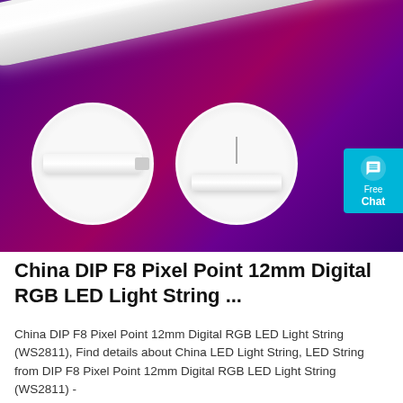[Figure (photo): Product photo of a white LED light tube bar against a purple/magenta gradient background, with two circular inset detail images showing connector end and suspended mounting of the LED light strip.]
China DIP F8 Pixel Point 12mm Digital RGB LED Light String ...
China DIP F8 Pixel Point 12mm Digital RGB LED Light String (WS2811), Find details about China LED Light String, LED String from DIP F8 Pixel Point 12mm Digital RGB LED Light String (WS2811) -